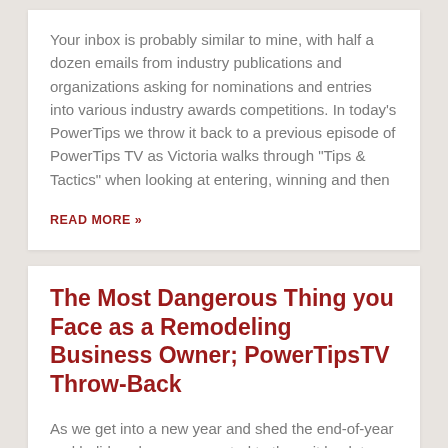Your inbox is probably similar to mine, with half a dozen emails from industry publications and organizations asking for nominations and entries into various industry awards competitions. In today's PowerTips we throw it back to a previous episode of PowerTips TV as Victoria walks through "Tips & Tactics" when looking at entering, winning and then
READ MORE »
The Most Dangerous Thing you Face as a Remodeling Business Owner; PowerTipsTV Throw-Back
As we get into a new year and shed the end-of-year and holiday chaos, we wanted to throw it back to a PowerTipsTV Episode dealing with a hidden danger that so